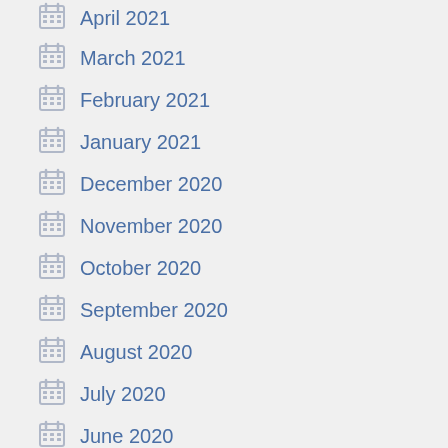April 2021
March 2021
February 2021
January 2021
December 2020
November 2020
October 2020
September 2020
August 2020
July 2020
June 2020
May 2020
April 2020
March 2020
February 2020